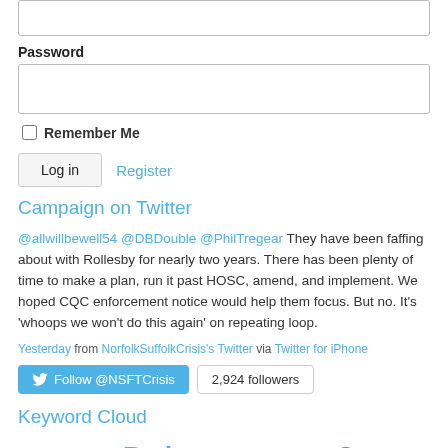(Password input field)
Password
(Password text box)
Remember Me
Log in   Register
Campaign on Twitter
@allwillbewell54 @DBDouble @PhilTregear They have been faffing about with Rollesby for nearly two years. There has been plenty of time to make a plan, run it past HOSC, amend, and implement. We hoped CQC enforcement notice would help them focus. But no. It’s ‘whoops we won’t do this again’ on repeating loop.
Yesterday from NorfolkSuffolkCrisis's Twitter via Twitter for iPhone
Follow @NSFTCrisis  2,924 followers
Keyword Cloud
Andrew Hopkins  BBC  Beds  Board of Shame  Care Co-ordinators  Care Quality  Commission  Community Care  Couldn’t run a bath  CQC